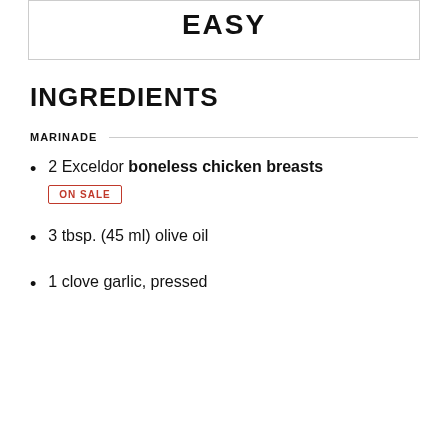EASY
INGREDIENTS
MARINADE
2 Exceldor boneless chicken breasts ON SALE
3 tbsp. (45 ml) olive oil
1 clove garlic, pressed